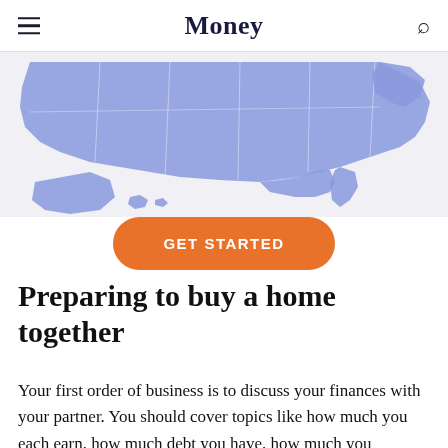Money
[Figure (map): Partial view of a blue-shaded map of the United States including Alaska and Hawaii, with state borders visible]
GET STARTED
Preparing to buy a home together
Your first order of business is to discuss your finances with your partner. You should cover topics like how much you each earn, how much debt you have, how much you